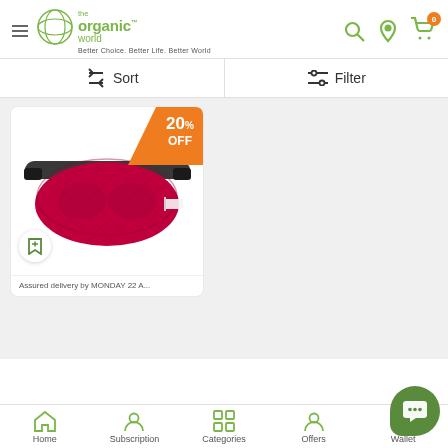[Figure (screenshot): The Organic World app header with logo, hamburger menu, search, location and cart icons. Tagline: Better Choice. Better Life. Better World]
Sort
Filter
[Figure (photo): Product card showing a red quilted sleep/eye mask with black strap, 20% OFF badge, bookmark icon, and delivery text: Assured delivery by MONDAY 22 A...]
Assured delivery by MONDAY 22 A...
Home  Subscription  Categories  Offers  Wallet